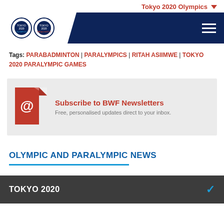Tokyo 2020 Olympics
[Figure (logo): Tokyo 2020 Olympics and Paralympics logos on navy navigation bar]
Tags: PARABADMINTON | PARALYMPICS | RITAH ASIIMWE | TOKYO 2020 PARALYMPIC GAMES
[Figure (infographic): Subscribe to BWF Newsletters - Free, personalised updates direct to your inbox.]
OLYMPIC AND PARALYMPIC NEWS
TOKYO 2020